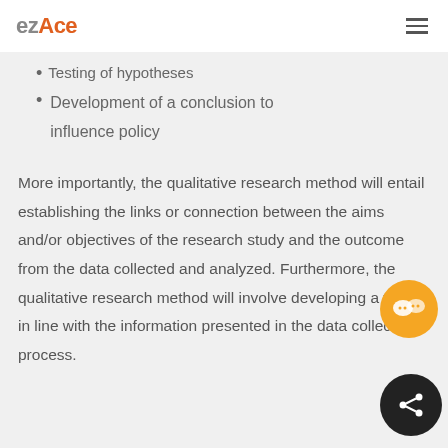ezAce
Testing of hypotheses
Development of a conclusion to influence policy
More importantly, the qualitative research method will entail establishing the links or connection between the aims and/or objectives of the research study and the outcome from the data collected and analyzed. Furthermore, the qualitative research method will involve developing a theory in line with the information presented in the data collection process.